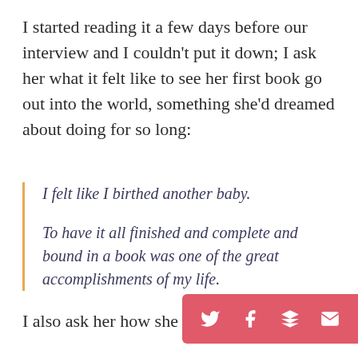I started reading it a few days before our interview and I couldn't put it down; I ask her what it felt like to see her first book go out into the world, something she'd dreamed about doing for so long:
I felt like I birthed another baby.

To have it all finished and complete and bound in a book was one of the great accomplishments of my life.
I also ask her how she def